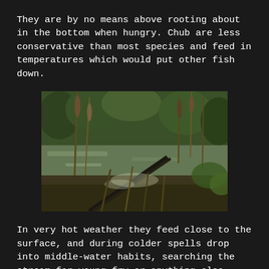They are by no means above rooting about in the bottom when hungry. Chub are less conservative than most species and feed in temperatures which would put other fish down.
[Figure (photo): A photograph of a marshy waterway or pond edge with reeds, cattails, and dense vegetation. The water reflects surrounding greenery. It appears to be an outdoor fishing or nature scene.]
In very hot weather they feed close to the surface, and during colder spells drop into middle-water habits, searching the stream for young fry or anything else which is brought down by the current.